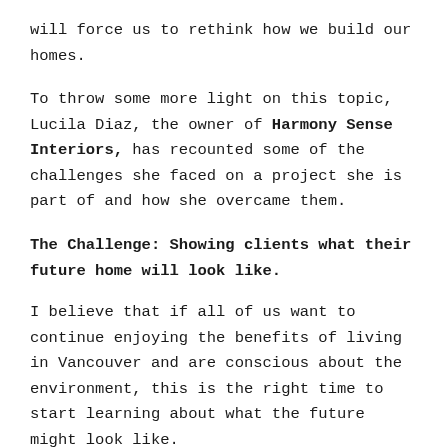will force us to rethink how we build our homes.
To throw some more light on this topic, Lucila Diaz, the owner of Harmony Sense Interiors, has recounted some of the challenges she faced on a project she is part of and how she overcame them.
The Challenge: Showing clients what their future home will look like.
I believe that if all of us want to continue enjoying the benefits of living in Vancouver and are conscious about the environment, this is the right time to start learning about what the future might look like.
With a similar mindset, Project Mint Developments and Nick Bray Architecture decided to take a leap into the future and are currently building an exemplary Certified Passive House